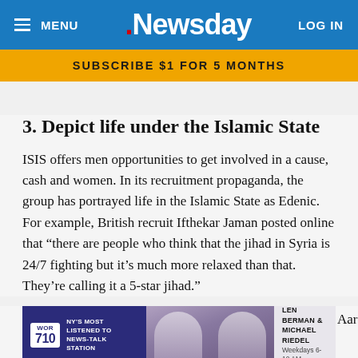MENU  .Newsday  LOG IN
SUBSCRIBE $1 FOR 5 MONTHS
3. Depict life under the Islamic State
ISIS offers men opportunities to get involved in a cause, cash and women. In its recruitment propaganda, the group has portrayed life in the Islamic State as Edenic. For example, British recruit Ifthekar Jaman posted online that “there are people who think that the jihad in Syria is 24/7 fighting but it’s much more relaxed than that. They’re calling it a 5-star jihad.”
In his a Aaron Zelin,